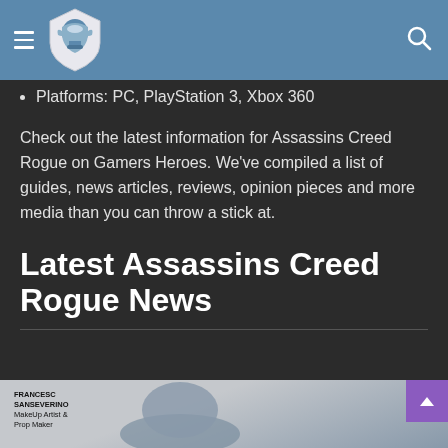Gamers Heroes navigation header with logo and search icon
Platforms: PC, PlayStation 3, Xbox 360
Check out the latest information for Assassins Creed Rogue on Gamers Heroes. We've compiled a list of guides, news articles, reviews, opinion pieces and more media than you can throw a stick at.
Latest Assassins Creed Rogue News
[Figure (photo): Partial view of a person in costume, with overlay text reading FRANCESC SANSEVERINO / MakeUp Artist & Prop Maker]